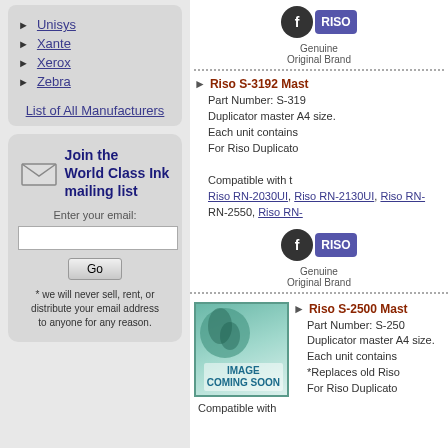Unisys
Xante
Xerox
Zebra
List of All Manufacturers
Join the World Class Ink mailing list
Enter your email:
[input field]
[Go button]
* we will never sell, rent, or distribute your email address to anyone for any reason.
Riso S-3192 Mast... Part Number: S-319... Duplicator master A4 size. Each unit contains... For Riso Duplicato... Compatible with... Riso RN-2030UI, Riso RN-2130UI, Riso RN-... RN-2550, Riso RN-... Genuine Original Brand
Riso S-2500 Mast... Part Number: S-250... Duplicator master A4 size. Each unit contains... *Replaces old Riso... For Riso Duplicato... Compatible with...